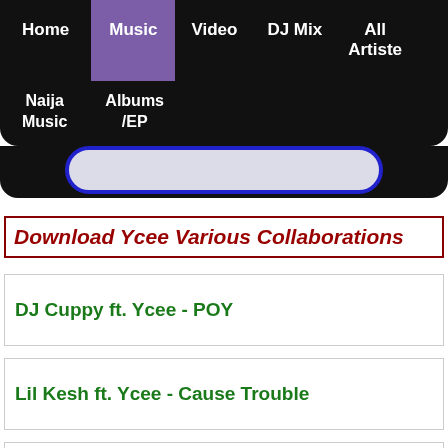Home | Music | Video | DJ Mix | All Artiste | Naija Music | Albums/EP
[Figure (screenshot): Rounded rectangle graphic element with blue border on dark background]
Download Ycee Various Collaborations
DJ Cuppy ft. Ycee - POY
Lil Kesh ft. Ycee - Cause Trouble